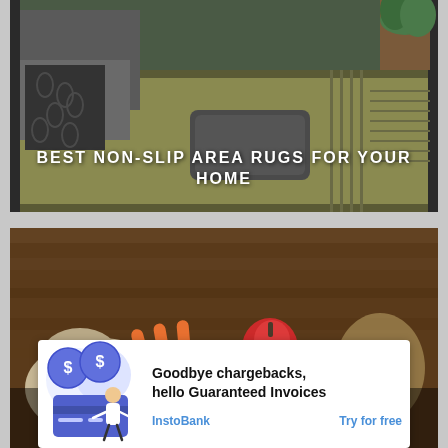[Figure (photo): Living room scene with a non-slip area rug on the floor, a sofa with patterned throw blanket and pillow, a wicker ottoman, and a potted plant in the corner. Dark borders on left and right sides.]
BEST NON-SLIP AREA RUGS FOR YOUR HOME
[Figure (photo): Top-down view of a wooden surface with grocery bags containing vegetables (carrots, cabbage, onions, garlic) and fruits (apple), and a bag with bread. Dark borders on left and right sides.]
THE FUTURE OF FOOD IS THE
[Figure (illustration): Advertisement illustration showing a person with dollar sign coins and a credit card, representing payment guarantee service.]
Goodbye chargebacks, hello Guaranteed Invoices
InstoBank
Try for free